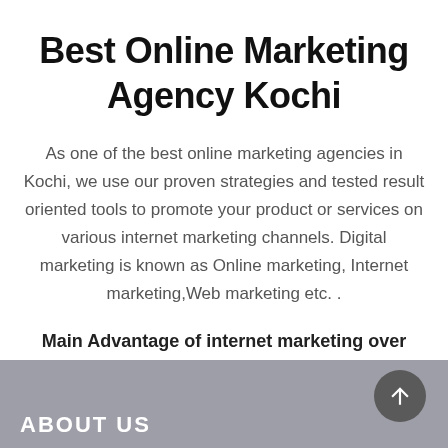Best Online Marketing Agency Kochi
As one of the best online marketing agencies in Kochi, we use our proven strategies and tested result oriented tools to promote your product or services on various internet marketing channels. Digital marketing is known as Online marketing, Internet marketing,Web marketing etc. .
Main Advantage of internet marketing over conventional marketing are
ABOUT US